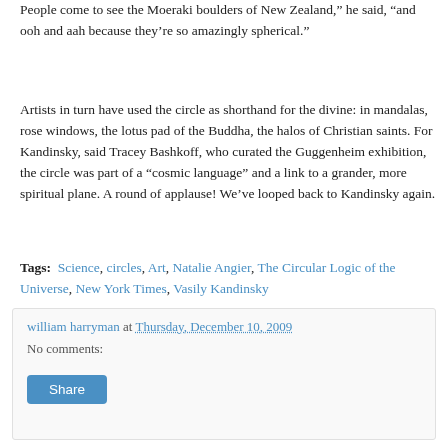People come to see the Moeraki boulders of New Zealand," he said, "and ooh and aah because they're so amazingly spherical."
Artists in turn have used the circle as shorthand for the divine: in mandalas, rose windows, the lotus pad of the Buddha, the halos of Christian saints. For Kandinsky, said Tracey Bashkoff, who curated the Guggenheim exhibition, the circle was part of a “cosmic language” and a link to a grander, more spiritual plane. A round of applause! We’ve looped back to Kandinsky again.
Tags: Science, circles, Art, Natalie Angier, The Circular Logic of the Universe, New York Times, Vasily Kandinsky
william harryman at Thursday, December 10, 2009
No comments: